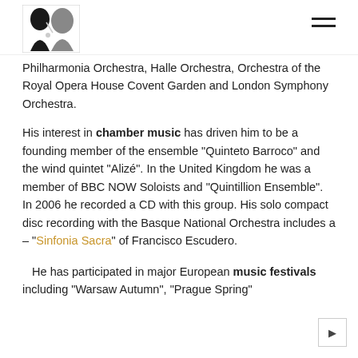[Logo] [Menu icon]
Philharmonia Orchestra, Halle Orchestra, Orchestra of the Royal Opera House Covent Garden and London Symphony Orchestra.
His interest in chamber music has driven him to be a founding member of the ensemble "Quinteto Barroco" and the wind quintet "Alizé". In the United Kingdom he was a member of BBC NOW Soloists and "Quintillion Ensemble".  In 2006 he recorded a CD with this group. His solo compact disc recording with the Basque National Orchestra includes a – "Sinfonia Sacra" of Francisco Escudero.
He has participated in major European music festivals including "Warsaw Autumn", "Prague Spring"